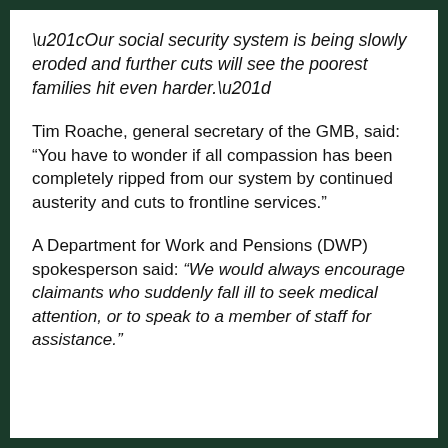“Our social security system is being slowly eroded and further cuts will see the poorest families hit even harder.”
Tim Roache, general secretary of the GMB, said: “You have to wonder if all compassion has been completely ripped from our system by continued austerity and cuts to frontline services.”
A Department for Work and Pensions (DWP) spokesperson said: “We would always encourage claimants who suddenly fall ill to seek medical attention, or to speak to a member of staff for assistance.”